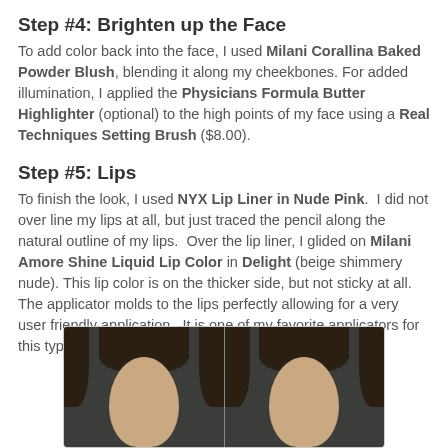Step #4: Brighten up the Face
To add color back into the face, I used Milani Corallina Baked Powder Blush, blending it along my cheekbones. For added illumination, I applied the Physicians Formula Butter Highlighter (optional) to the high points of my face using a Real Techniques Setting Brush ($8.00).
Step #5: Lips
To finish the look, I used NYX Lip Liner in Nude Pink.  I did not over line my lips at all, but just traced the pencil along the natural outline of my lips.  Over the lip liner, I glided on Milani Amore Shine Liquid Lip Color in Delight (beige shimmery nude). This lip color is on the thicker side, but not sticky at all. The applicator molds to the lips perfectly allowing for a very user friendly application.  It is one of my favorite applicators for this type of product.
[Figure (photo): Two side-by-side before/after photos of a woman's face against a dark background, showing hair and face.]